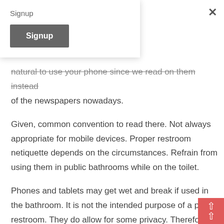Signup
[Figure (other): Signup button - dark gray rectangular button with white bold text 'Signup']
natural to use your phone since we read on them instead of the newspapers nowadays.
Given, common convention to read there. Not always appropriate for mobile devices. Proper restroom netiquette depends on the circumstances. Refrain from using them in public bathrooms while on the toilet.
Phones and tablets may get wet and break if used in the bathroom. It is not the intended purpose of a public restroom. They do allow for some privacy. Therefore,